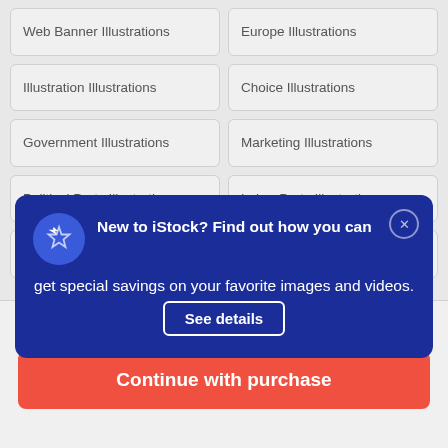Web Banner Illustrations
Europe Illustrations
Illustration Illustrations
Choice Illustrations
Government Illustrations
Marketing Illustrations
Political Party Illustrations
Labor Party Illustrations
Referendum Illustrations
Booth Illustrations
[Figure (screenshot): Promotional popup banner on dark blue background: star icon, text 'New to iStock? Find out how you can get special savings on your favorite images and videos.' with 'See details' button and close X button.]
$33 | 3 credits
Continue with purchase